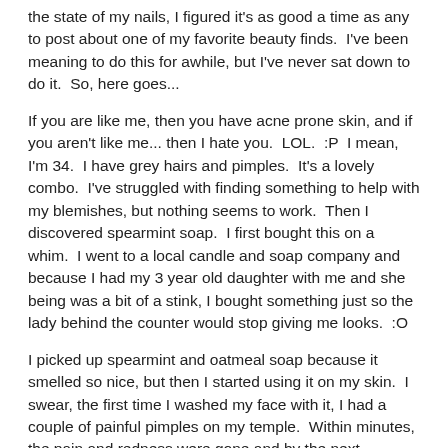the state of my nails, I figured it's as good a time as any to post about one of my favorite beauty finds.  I've been meaning to do this for awhile, but I've never sat down to do it.  So, here goes...
If you are like me, then you have acne prone skin, and if you aren't like me... then I hate you.  LOL.  :P  I mean, I'm 34.  I have grey hairs and pimples.  It's a lovely combo.  I've struggled with finding something to help with my blemishes, but nothing seems to work.  Then I discovered spearmint soap.  I first bought this on a whim.  I went to a local candle and soap company and because I had my 3 year old daughter with me and she being was a bit of a stink, I bought something just so the lady behind the counter would stop giving me looks.  :O
I picked up spearmint and oatmeal soap because it smelled so nice, but then I started using it on my skin.  I swear, the first time I washed my face with it, I had a couple of painful pimples on my temple.  Within minutes, the pain and redness were gone and by the next morning, the pimple was gone completely.  Now, I still get blemishes, and on really bad